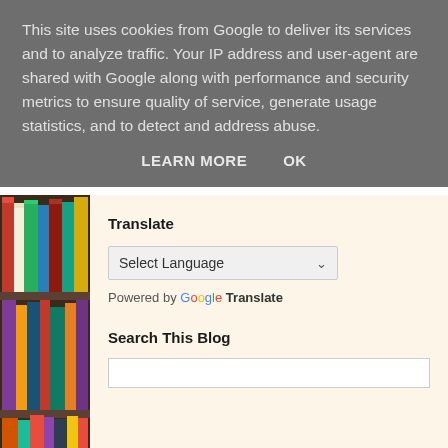This site uses cookies from Google to deliver its services and to analyze traffic. Your IP address and user-agent are shared with Google along with performance and security metrics to ensure quality of service, generate usage statistics, and to detect and address abuse.
LEARN MORE    OK
[Figure (photo): Bookshelf with colorful books on wooden shelves]
Translate
Select Language
Powered by Google Translate
Search This Blog